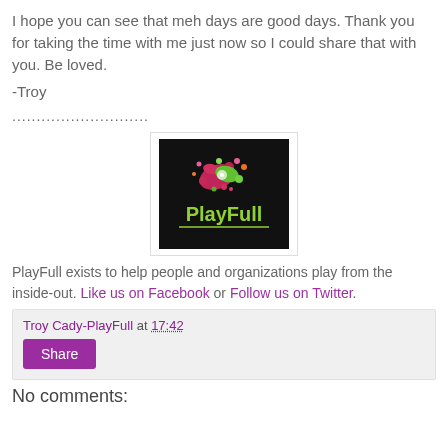I hope you can see that meh days are good days. Thank you for taking the time with me just now so I could share that with you. Be loved.
-Troy
............................
[Figure (logo): PlayFull logo: black background with colorful paint splatter and green 'PlayFull' text]
PlayFull exists to help people and organizations play from the inside-out. Like us on Facebook or Follow us on Twitter.
Troy Cady-PlayFull at 17:42
Share
No comments: